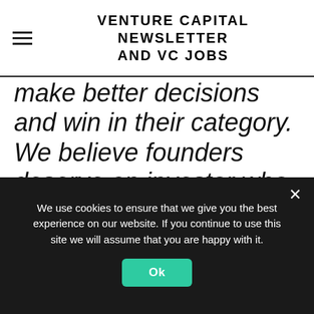VENTURE CAPITAL NEWSLETTER AND VC JOBS
make better decisions and win in their category. We believe founders deserve an investor who propels them on their mission of transforming an idea into a successful company, while staying out of their way. This is why we are building a Venture Engine, a full-service venture firm that provides the right people, platform, and partnerships for founding teams to build high-velocity
We use cookies to ensure that we give you the best experience on our website. If you continue to use this site we will assume that you are happy with it.